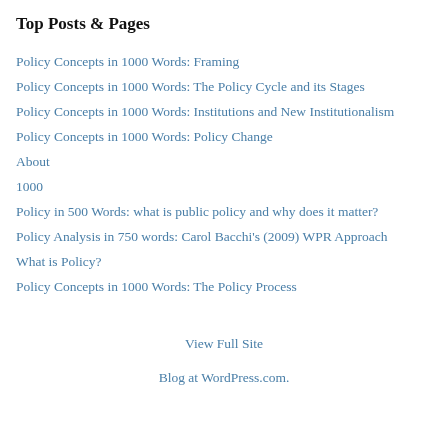Top Posts & Pages
Policy Concepts in 1000 Words: Framing
Policy Concepts in 1000 Words: The Policy Cycle and its Stages
Policy Concepts in 1000 Words: Institutions and New Institutionalism
Policy Concepts in 1000 Words: Policy Change
About
1000
Policy in 500 Words: what is public policy and why does it matter?
Policy Analysis in 750 words: Carol Bacchi's (2009) WPR Approach
What is Policy?
Policy Concepts in 1000 Words: The Policy Process
View Full Site
Blog at WordPress.com.